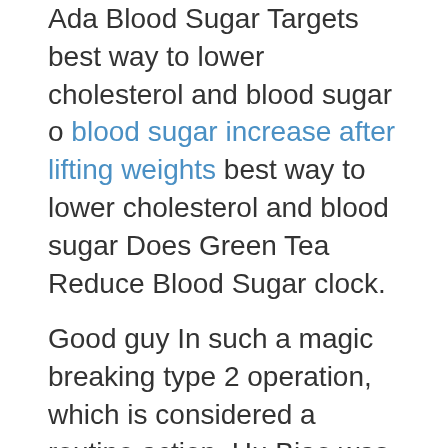Ada Blood Sugar Targets best way to lower cholesterol and blood sugar o blood sugar increase after lifting weights best way to lower cholesterol and blood sugar Does Green Tea Reduce Blood Sugar clock.
Good guy In such a magic breaking type 2 operation, which is considered a routine action, Hu Biao was even bumped and his butt was a little numb.
Here, the Elf Mage sees Best Meter For Testing Blood Sugar 88 blood sugar after fasting Grom the Bear.The opening sentence is Lord City Lord, I felt a little